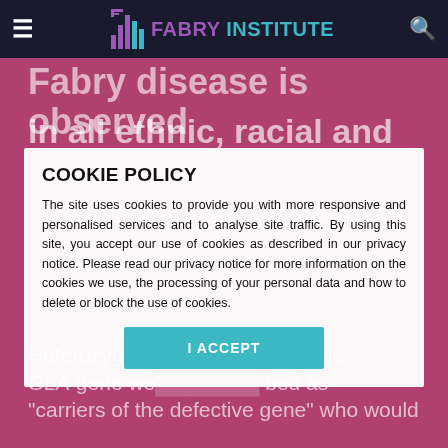FABRY INSTITUTE — Navigation bar with hamburger menu and search icon
Fabry disease is observed in all ethnic, racial and
COOKIE POLICY
The site uses cookies to provide you with more responsive and personalised services and to analyse site traffic. By using this site, you accept our use of cookies as described in our privacy notice. Please read our privacy notice for more information on the cookies we use, the processing of your personal data and how to delete or block the use of cookies.
I ACCEPT
Heterozygous patients in the GLA gene were previously described as "carriers of the defective gene" who would